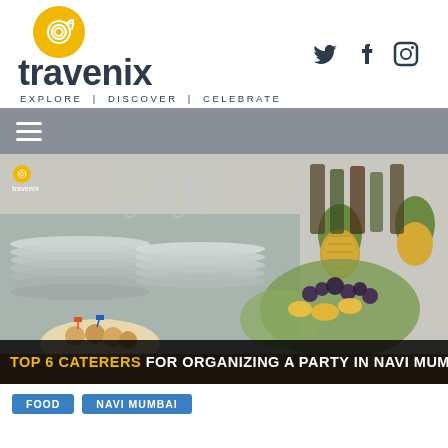[Figure (logo): Travenix logo with spiral icon, wordmark 'travenix', tagline 'EXPLORE | DISCOVER | CELEBRATE', and social media icons (Twitter, Facebook, Instagram) to the right]
[Figure (other): Gray navigation bar with hamburger menu icon (three horizontal white lines)]
[Figure (photo): Catering spread photo showing stacked plates, pineapple fruit displays, desserts and appetizers on platters, with Travenix watermark in top left. Banner overlay reads 'TOP 6 CATERERS FOR ORGANIZING A PARTY IN NAVI MUMBAI']
FOOD    NAVI MUMBAI